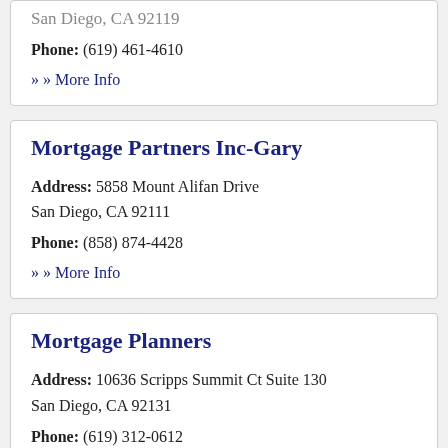San Diego, CA 92119
Phone: (619) 461-4610
» More Info
Mortgage Partners Inc-Gary
Address: 5858 Mount Alifan Drive
San Diego, CA 92111
Phone: (858) 874-4428
» More Info
Mortgage Planners
Address: 10636 Scripps Summit Ct Suite 130
San Diego, CA 92131
Phone: (619) 312-0612